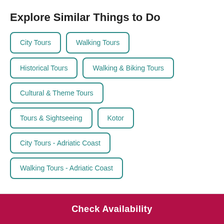Explore Similar Things to Do
City Tours
Walking Tours
Historical Tours
Walking & Biking Tours
Cultural & Theme Tours
Tours & Sightseeing
Kotor
City Tours - Adriatic Coast
Walking Tours - Adriatic Coast
Check Availability